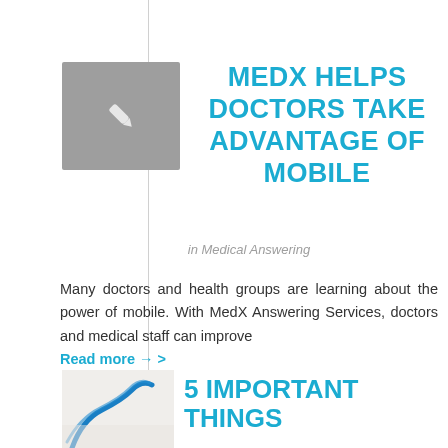[Figure (illustration): Grey square thumbnail with a white pencil/edit icon in the center]
MEDX HELPS DOCTORS TAKE ADVANTAGE OF MOBILE
in Medical Answering
Many doctors and health groups are learning about the power of mobile. With MedX Answering Services, doctors and medical staff can improve Read more →
[Figure (photo): Partial photo showing blue stethoscope on white background, bottom left corner thumbnail]
5 IMPORTANT THINGS